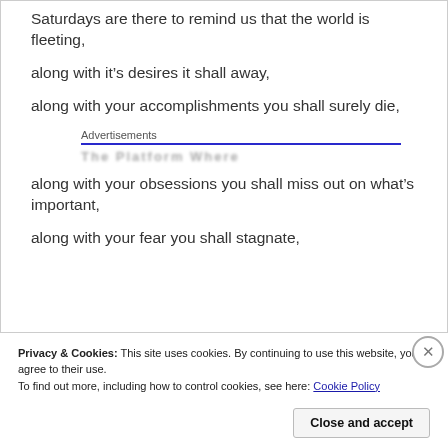Saturdays are there to remind us that the world is fleeting,
along with it’s desires it shall away,
along with your accomplishments you shall surely die,
[Figure (other): Advertisements section with a blue horizontal rule and blurred advertisement text below]
along with your obsessions you shall miss out on what’s important,
along with your fear you shall stagnate,
Privacy & Cookies: This site uses cookies. By continuing to use this website, you agree to their use.
To find out more, including how to control cookies, see here: Cookie Policy